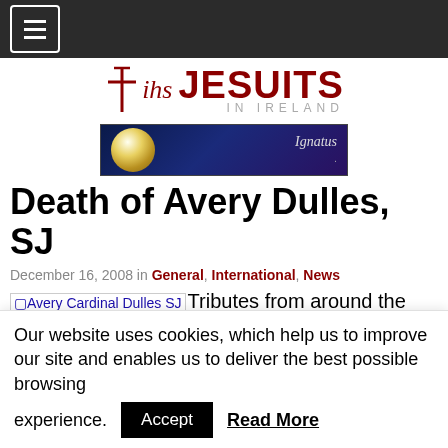Navigation bar with hamburger menu
[Figure (logo): IHS Jesuits in Ireland logo with cross symbol]
[Figure (illustration): Banner advertisement for Ignatius.com showing night sky with moon and figure]
Death of Avery Dulles, SJ
December 16, 2008 in General, International, News
Avery Cardinal Dulles SJ Tributes from around the world have been paid to the late Avery Dulles SJ, one of the world's most renowned Jesuits and a Cardinal since 2001. He died at 9am on Friday Dec 12th, aged 90. Son of John Foster Dulles, Eisenhower's Secretary of State after whom Dulles
Our website uses cookies, which help us to improve our site and enables us to deliver the best possible browsing experience.
Accept  Read More